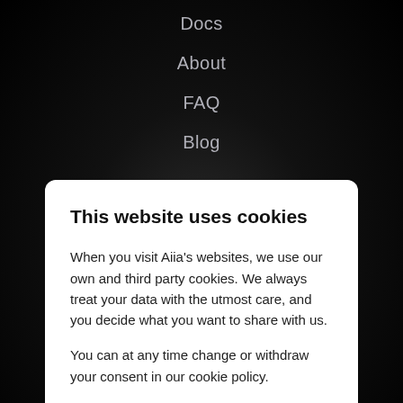Docs
About
FAQ
Blog
[Figure (illustration): Twitter and LinkedIn social media icons in light gray outline style]
This website uses cookies
When you visit Aiia's websites, we use our own and third party cookies. We always treat your data with the utmost care, and you decide what you want to share with us.
You can at any time change or withdraw your consent in our cookie policy.